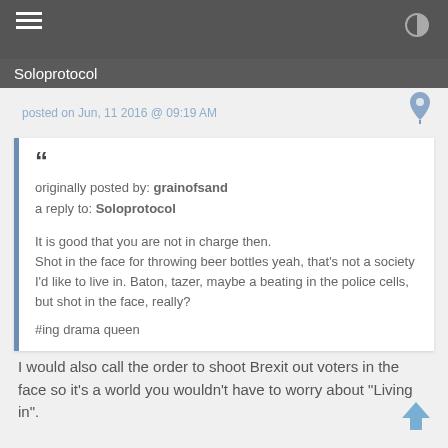Soloprotocol
posted on Jun, 11 2016 @ 09:19 AM
originally posted by: grainofsand
a reply to: Soloprotocol

It is good that you are not in charge then.
Shot in the face for throwing beer bottles yeah, that's not a society I'd like to live in. Baton, tazer, maybe a beating in the police cells, but shot in the face, really?

#ing drama queen
I would also call the order to shoot Brexit out voters in the face so it's a world you wouldn't have to worry about "Living in".